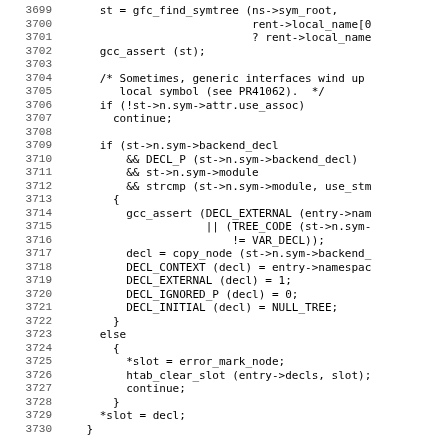[Figure (screenshot): Source code listing showing C/C++ code with line numbers 3699-3730, featuring function calls like gfc_find_symtree, gcc_assert, DECL_P, copy_node, DECL_CONTEXT, DECL_EXTERNAL, DECL_IGNORED_P, DECL_INITIAL, htab_clear_slot, and control flow with if/else statements.]